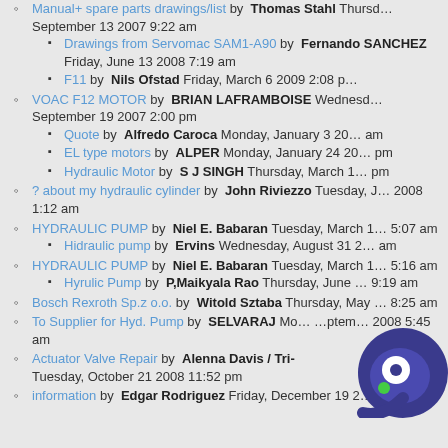Manual+ spare parts drawings/list by Thomas Stahl Thursday, September 13 2007 9:22 am
Drawings from Servomac SAM1-A90 by Fernando SANCHEZ Friday, June 13 2008 7:19 am
F11 by Nils Ofstad Friday, March 6 2009 2:08 pm
VOAC F12 MOTOR by BRIAN LAFRAMBOISE Wednesday, September 19 2007 2:00 pm
Quote by Alfredo Caroca Monday, January 3 2011 am
EL type motors by ALPER Monday, January 24 2011 pm
Hydraulic Motor by S J SINGH Thursday, March 1 pm
? about my hydraulic cylinder by John Riviezzo Tuesday, January 2008 1:12 am
HYDRAULIC PUMP by Niel E. Babaran Tuesday, March 2011 5:07 am
Hidraulic pump by Ervins Wednesday, August 31 2011 am
HYDRAULIC PUMP by Niel E. Babaran Tuesday, March 2011 5:16 am
Hyrulic Pump by P,Maikyala Rao Thursday, June 9:19 am
Bosch Rexroth Sp.z o.o. by Witold Sztaba Thursday, May 8:25 am
To Supplier for Hyd. Pump by SELVARAJ Monday September 2008 5:45 am
Actuator Valve Repair by Alenna Davis / Tri-duction Inc. Tuesday, October 21 2008 11:52 pm
information by Edgar Rodriguez Friday, December 19 2008